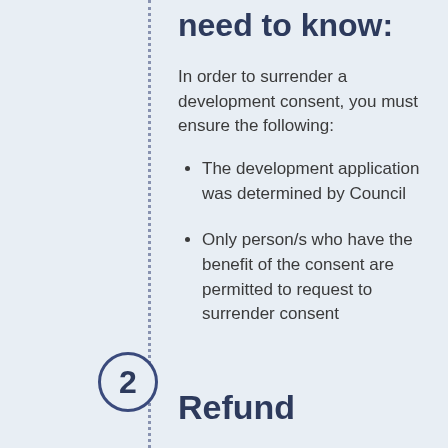need to know:
In order to surrender a development consent, you must ensure the following:
The development application was determined by Council
Only person/s who have the benefit of the consent are permitted to request to surrender consent
2
Refund